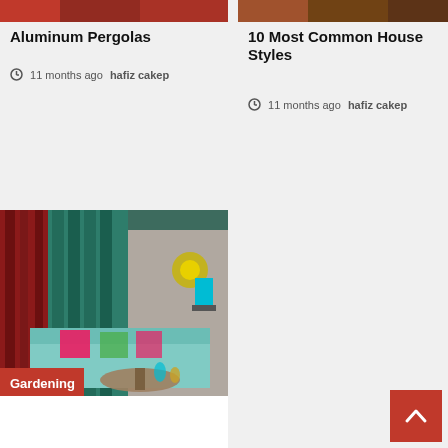[Figure (photo): Top portion of an image for Aluminum Pergolas article]
Aluminum Pergolas
11 months ago hafiz cakep
[Figure (photo): Top portion of an image for 10 Most Common House Styles article]
10 Most Common House Styles
11 months ago hafiz cakep
[Figure (photo): Interior room photo with teal curtains, red drapes, teal sofa with pink pillows, and decorative lamp. Gardening badge overlay.]
Baker Racks & Wine Carts For Every Price